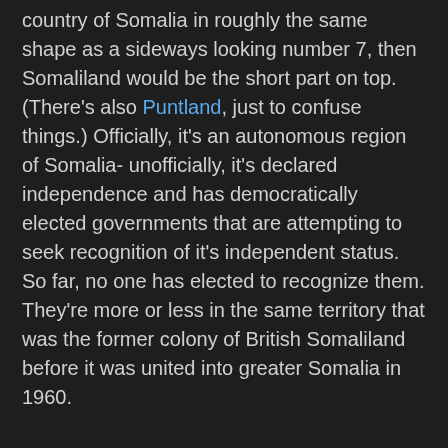country of Somalia in roughly the same shape as a sideways looking number 7, then Somaliland would be the short part on top. (There's also Puntland, just to confuse things.) Officially, it's an autonomous region of Somalia- unofficially, it's declared independence and has democratically elected governments that are attempting to seek recognition of it's independent status. So far, no one has elected to recognize them. They're more or less in the same territory that was the former colony of British Somaliland before it was united into greater Somalia in 1960.
The present configuration of the flag was adopted on October 14th, 1993. The interesting part isn't the design of the flag itself...  I know that sounds weird, but stay with me: it's got the Pan-Arab colors of green, black, white and red and on the green stripe, you've got the Sunni Shahada, the Declaration of Faith similar to that seen on the flag of Saudi Arabia. Because of that, it's actually forbidden to fly the flag at half-mast, because it's seen as disrespectful. Even when Presidents or